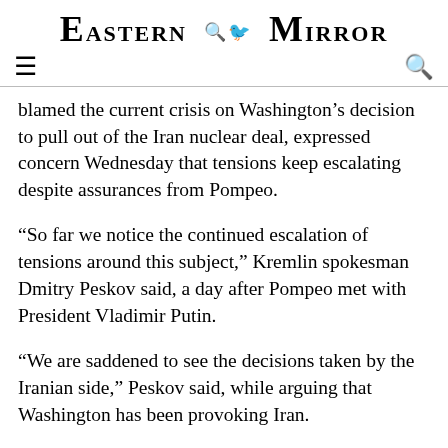Eastern Mirror
blamed the current crisis on Washington's decision to pull out of the Iran nuclear deal, expressed concern Wednesday that tensions keep escalating despite assurances from Pompeo.
“So far we notice the continued escalation of tensions around this subject,” Kremlin spokesman Dmitry Peskov said, a day after Pompeo met with President Vladimir Putin.
“We are saddened to see the decisions taken by the Iranian side,” Peskov said, while arguing that Washington has been provoking Iran.
Ruled by Shiite clerics, Iran has a strong influence in Iraq, especially in the country’s Shiite-majority south.